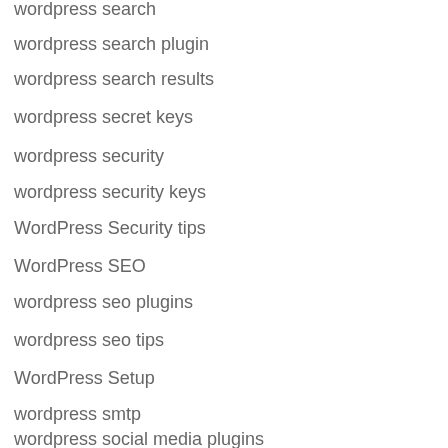wordpress search
wordpress search plugin
wordpress search results
wordpress secret keys
wordpress security
wordpress security keys
WordPress Security tips
WordPress SEO
wordpress seo plugins
wordpress seo tips
WordPress Setup
wordpress smtp
wordpress social media plugins